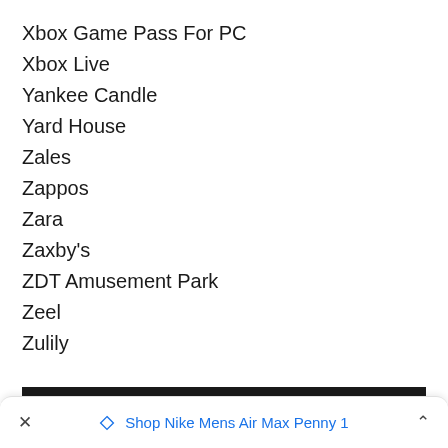Xbox Game Pass For PC
Xbox Live
Yankee Candle
Yard House
Zales
Zappos
Zara
Zaxby's
ZDT Amusement Park
Zeel
Zulily
GIFT CARD SELLERS/DISCOUNT SOURCES
× ◇ Shop Nike Mens Air Max Penny 1 ∧